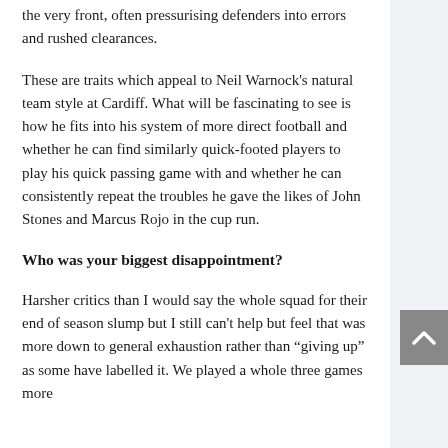the very front, often pressurising defenders into errors and rushed clearances.
These are traits which appeal to Neil Warnock's natural team style at Cardiff. What will be fascinating to see is how he fits into his system of more direct football and whether he can find similarly quick-footed players to play his quick passing game with and whether he can consistently repeat the troubles he gave the likes of John Stones and Marcus Rojo in the cup run.
Who was your biggest disappointment?
Harsher critics than I would say the whole squad for their end of season slump but I still can't help but feel that was more down to general exhaustion rather than “giving up” as some have labelled it. We played a whole three games more than...